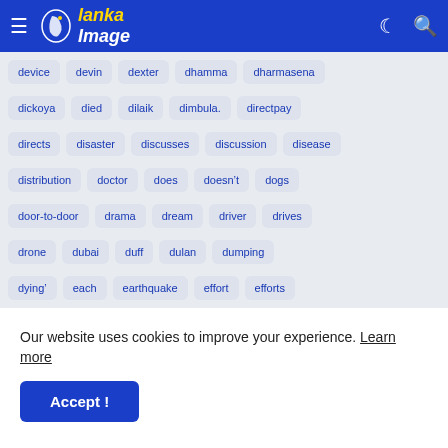Lanka Image - navigation bar with logo, hamburger menu, moon icon, search icon
device, devin, dexter, dhamma, dharmasena
dickoya, died, dilaik, dimbula., directpay
directs, disaster, discusses, discussion, disease
distribution, doctor, does, doesn't, dogs
door-to-door, drama, dream, driver, drives
drone, dubai, duff, dulan, dumping
dying', each, earthquake, effort, efforts
elder, electoral, electric, elephants, elite, ellis
Our website uses cookies to improve your experience. Learn more
Accept !